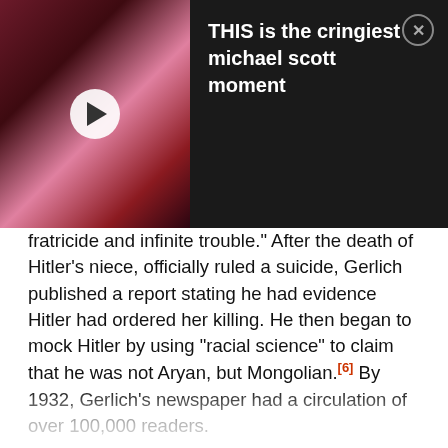[Figure (screenshot): Video thumbnail overlay banner showing a dark thumbnail with play button on the left, and video title 'THIS is the cringiest michael scott moment' on dark background with close button on the right]
fratricide and infinite trouble." After the death of Hitler's niece, officially ruled a suicide, Gerlich published a report stating he had evidence Hitler had ordered her killing. He then began to mock Hitler by using "racial science" to claim that he was not Aryan, but Mongolian.[6] By 1932, Gerlich's newspaper had a circulation of over 100,000 readers.
Just one year later, Hitler would be in power, and Gerlich was one of his first victims. Just one day after seizing control, the SA (a paramilitary predecessor to the SS) stormed Gerlich's offices and arrested him. The editorial staff was attacked, machines and desks destroyed, and Gerlich was tortured in prison. On June 30, 1934, now